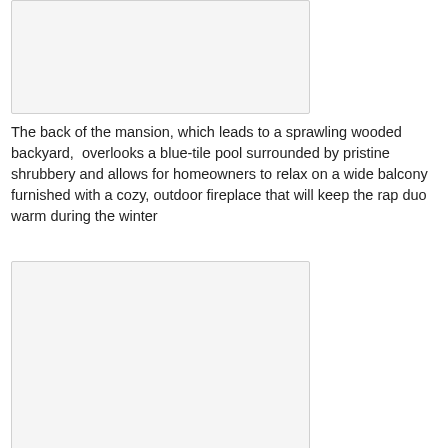[Figure (photo): A photo placeholder showing the back of a mansion with wooded backyard, pool area.]
The back of the mansion, which leads to a sprawling wooded backyard,  overlooks a blue-tile pool surrounded by pristine shrubbery and allows for homeowners to relax on a wide balcony furnished with a cozy, outdoor fireplace that will keep the rap duo warm during the winter
[Figure (photo): A second photo placeholder showing another view of the mansion property.]